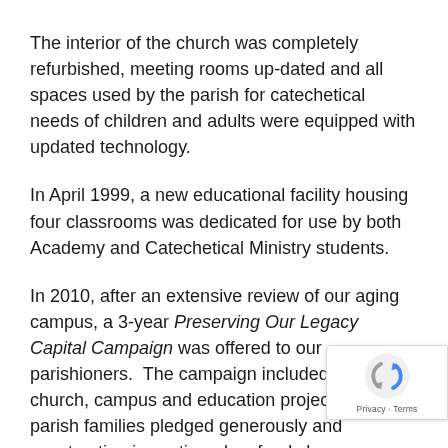The interior of the church was completely refurbished, meeting rooms up-dated and all spaces used by the parish for catechetical needs of children and adults were equipped with updated technology.
In April 1999, a new educational facility housing four classrooms was dedicated for use by both Academy and Catechetical Ministry students.
In 2010, after an extensive review of our aging campus, a 3-year Preserving Our Legacy Capital Campaign was offered to our parishioners.  The campaign included plans for church, campus and education projects. Our parish families pledged generously and construction is continued as funds became available.
From its founding in 1956, Santa Sophia has grown